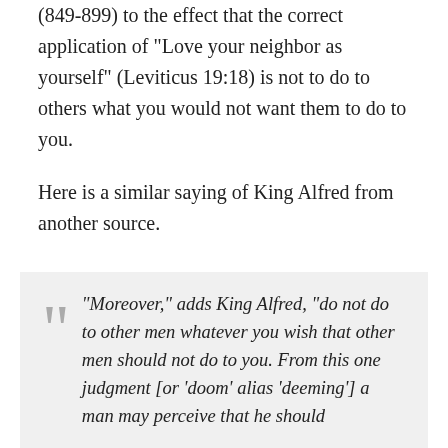(849-899) to the effect that the correct application of "Love your neighbor as yourself" (Leviticus 19:18) is not to do to others what you would not want them to do to you.
Here is a similar saying of King Alfred from another source.
"Moreover," adds King Alfred, "do not do to other men whatever you wish that other men should not do to you. From this one judgment [or 'doom' alias 'deeming'] a man may perceive that he should